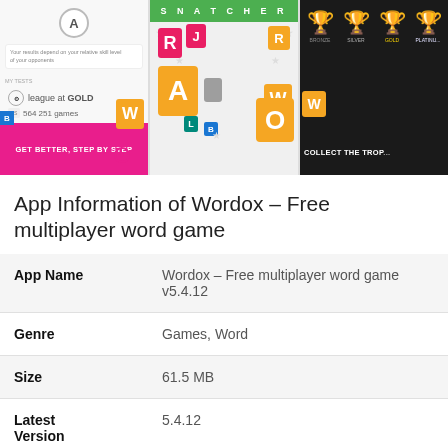[Figure (screenshot): Three mobile app screenshots of Wordox word game: first shows player stats with pink background and 'GET BETTER, STEP BY STEP' tagline, second shows colorful letter tiles spelling out game elements on light background with SNATCHER header, third shows trophy collection screen on dark background with 'COLLECT THE TROP' text]
App Information of Wordox – Free multiplayer word game
| App Name | Wordox – Free multiplayer word game v5.4.12 |
| Genre | Games, Word |
| Size | 61.5 MB |
| Latest Version | 5.4.12 |